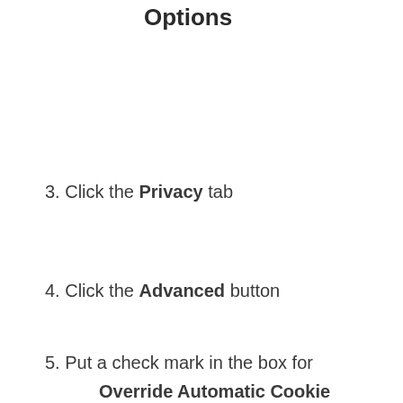Options
3. Click the Privacy tab
4. Click the Advanced button
5. Put a check mark in the box for Override Automatic Cookie Handling, put another check mark in the Always accept session cookies